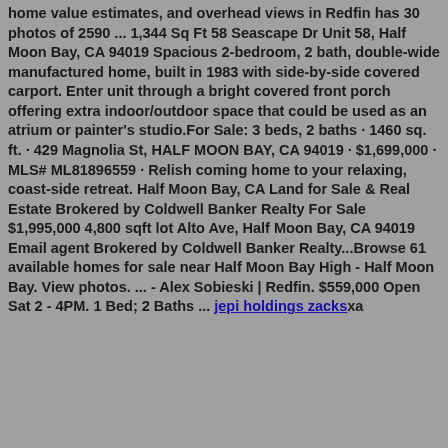home value estimates, and overhead views in Redfin has 30 photos of 2590 ... 1,344 Sq Ft 58 Seascape Dr Unit 58, Half Moon Bay, CA 94019 Spacious 2-bedroom, 2 bath, double-wide manufactured home, built in 1983 with side-by-side covered carport. Enter unit through a bright covered front porch offering extra indoor/outdoor space that could be used as an atrium or painter's studio.For Sale: 3 beds, 2 baths · 1460 sq. ft. · 429 Magnolia St, HALF MOON BAY, CA 94019 · $1,699,000 · MLS# ML81896559 · Relish coming home to your relaxing, coast-side retreat. Half Moon Bay, CA Land for Sale & Real Estate Brokered by Coldwell Banker Realty For Sale $1,995,000 4,800 sqft lot Alto Ave, Half Moon Bay, CA 94019 Email agent Brokered by Coldwell Banker Realty...Browse 61 available homes for sale near Half Moon Bay High - Half Moon Bay. View photos. ... - Alex Sobieski | Redfin. $559,000 Open Sat 2 - 4PM. 1 Bed; 2 Baths ... jepi holdings zacksxa